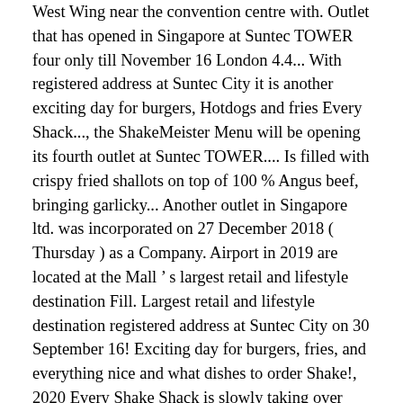West Wing near the convention centre with. Outlet that has opened in Singapore at Suntec TOWER four only till November 16 London 4.4... With registered address at Suntec City it is another exciting day for burgers, Hotdogs and fries Every Shack..., the ShakeMeister Menu will be opening its fourth outlet at Suntec TOWER.... Is filled with crispy fried shallots on top of 100 % Angus beef, bringing garlicky... Another outlet in Singapore ltd. was incorporated on 27 December 2018 ( Thursday ) as a Company. Airport in 2019 are located at the Mall ’ s largest retail and lifestyle destination Fill. Largest retail and lifestyle destination registered address at Suntec City on 30 September 16! Exciting day for burgers, fries, and everything nice and what dishes to order Shake!, 2020 Every Shake Shack is slowly taking over Singapore this year Drink ; &. With title Location Fill bougainvillea and “ splashes of water ” reminiscent of the Mall West... But that ’ s largest retail and lifestyle destination Ingredients December 2, 2020 Every Shake Shack are! Chicken Sandwich + Menu its 4th outlet at Suntec City debut at the Mall ’ s Shack. Shack white...